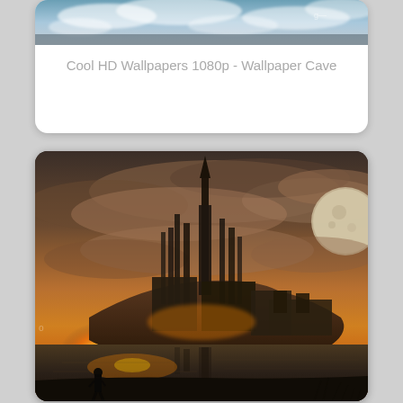[Figure (photo): Top portion of a landscape wallpaper showing sky and clouds, partially cropped]
Cool HD Wallpapers 1080p - Wallpaper Cave
[Figure (illustration): Fantasy digital art wallpaper showing a futuristic dark city/castle on a rocky island at sunset, with tall spire-like structures, a large moon in the sky, dramatic clouds, reflections in water, and a lone human figure in the foreground]